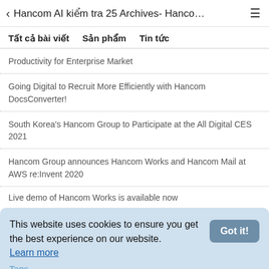< Hancom AI kiểm tra 25 Archives- Hanco… ≡
Tất cả bài viết   Sản phẩm   Tin tức
Productivity for Enterprise Market
Going Digital to Recruit More Efficiently with Hancom DocsConverter!
South Korea's Hancom Group to Participate at the All Digital CES 2021
Hancom Group announces Hancom Works and Hancom Mail at AWS re:Invent 2020
Live demo of Hancom Works is available now
This website uses cookies to ensure you get the best experience on our website. Learn more
Tags
AWS CES 2019 Cloud based services collaboration platform Docsconverter Document conversion email Hancom Group hancom mail Hancom Office Hancom Office 2020